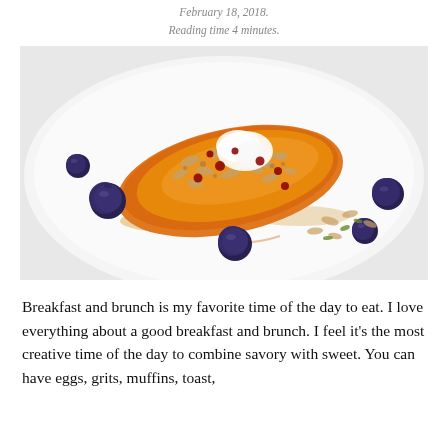February 18, 2018.
Reading time 4 minutes.
[Figure (photo): A roasted peach or apricot half on a white plate, topped with granola and cream, surrounded by fresh blueberries and cranberries drizzled with caramel syrup.]
Breakfast and brunch is my favorite time of the day to eat. I love everything about a good breakfast and brunch. I feel it's the most creative time of the day to combine savory with sweet. You can have eggs, grits, muffins, toast,